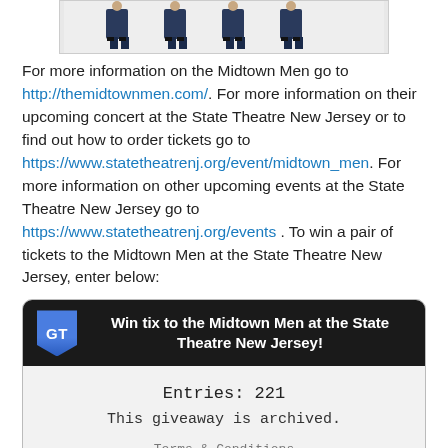[Figure (photo): Photo strip showing four men standing in a row wearing dark clothing and dress shoes against a white background]
For more information on the Midtown Men go to http://themidtownmen.com/. For more information on their upcoming concert at the State Theatre New Jersey or to find out how to order tickets go to https://www.statetheatrenj.org/event/midtown_men. For more information on other upcoming events at the State Theatre New Jersey go to https://www.statetheatrenj.org/events . To win a pair of tickets to the Midtown Men at the State Theatre New Jersey, enter below:
[Figure (screenshot): Giveaway widget with dark header showing GT logo and title 'Win tix to the Midtown Men at the State Theatre New Jersey!' and body showing Entries: 221, This giveaway is archived, and Terms & Conditions link]